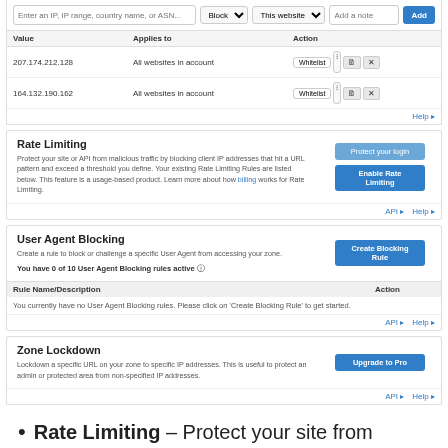| Value | Applies to | Action |
| --- | --- | --- |
| 207.174.212.128 | All websites in account | Whitelist |
| 164.132.190.162 | All websites in account | Whitelist |
Rate Limiting
Protect your site or API from malicious traffic by blocking client IP addresses that hit a URL pattern and exceed a threshold you define. Your existing Rate Limiting Rules are listed below. This feature is a usage-based product. Learn more about how billing works for Rate Limiting.
User Agent Blocking
Create a rule to block or challenge a specific User Agent from accessing your zone.
You have 0 of 10 User Agent Blocking rules active
| Rule Name/Description | Action |
| --- | --- |
| You currently have no User Agent Blocking rules. Please click on 'Create Blocking Rule' to get started. |  |
Zone Lockdown
Lockdown a specific URL on your zone to specific IP addresses. This is useful to protect an admin or protected area from non-specified IP addresses.
Rate Limiting – Protect your site from